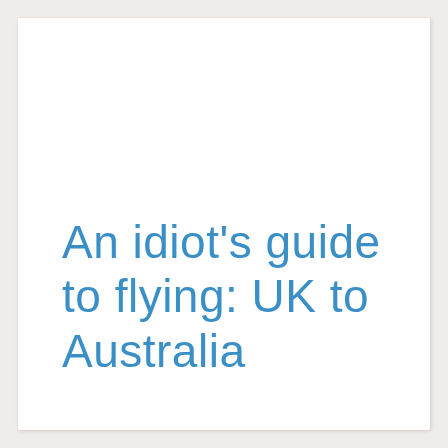An idiot's guide to flying: UK to Australia